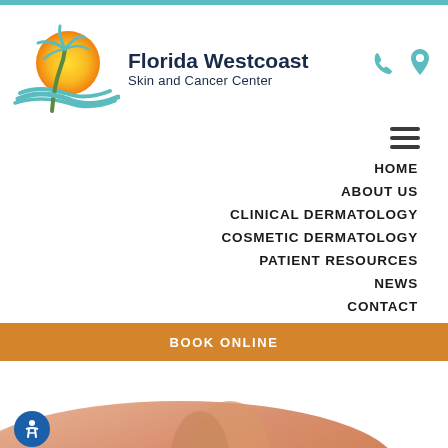[Figure (logo): Florida Westcoast Skin and Cancer Center logo with palm tree and sun graphic]
[Figure (other): Phone icon and map pin icon in teal color]
[Figure (other): Hamburger menu icon (three horizontal lines)]
HOME
ABOUT US
CLINICAL DERMATOLOGY
COSMETIC DERMATOLOGY
PATIENT RESOURCES
NEWS
CONTACT
BOOK ONLINE
[Figure (photo): Close-up photo of human skin, bottom portion of page]